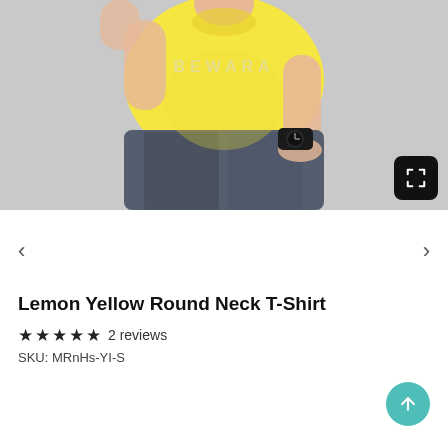[Figure (photo): Man wearing a lemon yellow round neck t-shirt with a black watch, hand in pocket of dark jeans, gray background. Watermark text 'BEWARA' visible. Expand icon in bottom right corner.]
Lemon Yellow Round Neck T-Shirt
★★★★★ 2 reviews
SKU: MRnHs-YI-S